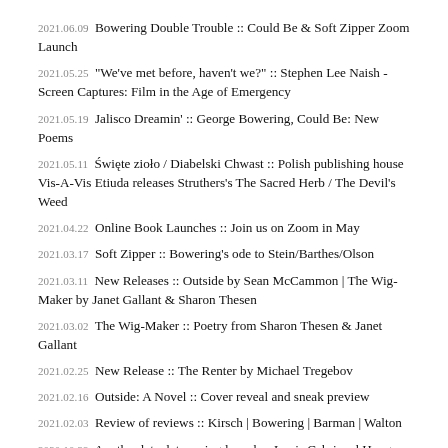2021.06.09 Bowering Double Trouble :: Could Be & Soft Zipper Zoom Launch
2021.05.25 "We've met before, haven't we?" :: Stephen Lee Naish - Screen Captures: Film in the Age of Emergency
2021.05.19 Jalisco Dreamin' :: George Bowering, Could Be: New Poems
2021.05.11 Święte zioło / Diabelski Chwast :: Polish publishing house Vis-A-Vis Etiuda releases Struthers's The Sacred Herb / The Devil's Weed
2021.04.22 Online Book Launches :: Join us on Zoom in May
2021.03.17 Soft Zipper :: Bowering's ode to Stein/Barthes/Olson
2021.03.11 New Releases :: Outside by Sean McCammon | The Wig-Maker by Janet Gallant & Sharon Thesen
2021.03.02 The Wig-Maker :: Poetry from Sharon Thesen & Janet Gallant
2021.02.25 New Release :: The Renter by Michael Tregebov
2021.02.16 Outside: A Novel :: Cover reveal and sneak preview
2021.02.03 Review of reviews :: Kirsch | Bowering | Barman | Walton
2020.10.29 Another late, late spring launch :: Louis Cabri and Hungry Slingshots come to Zoom Sunday, November 15
2020.10.02 Mid-century Montreal under the microscope :: Sharon Kirsch's